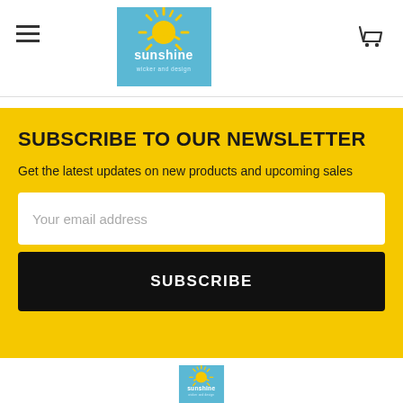Sunshine Wicker and Design - navigation header with hamburger menu, logo, and cart icon
SUBSCRIBE TO OUR NEWSLETTER
Get the latest updates on new products and upcoming sales
Your email address
SUBSCRIBE
[Figure (logo): Sunshine Wicker and Design logo - sun graphic with blue background and company name]